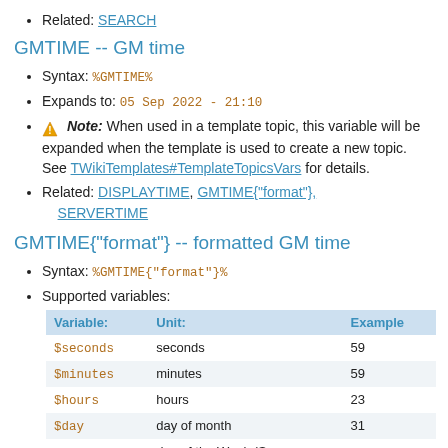Related: SEARCH
GMTIME -- GM time
Syntax: %GMTIME%
Expands to: 05 Sep 2022 - 21:10
⚠ Note: When used in a template topic, this variable will be expanded when the template is used to create a new topic. See TWikiTemplates#TemplateTopicsVars for details.
Related: DISPLAYTIME, GMTIME{"format"}, SERVERTIME
GMTIME{"format"} -- formatted GM time
Syntax: %GMTIME{"format"}%
Supported variables:
| Variable: | Unit: | Example |
| --- | --- | --- |
| $seconds | seconds | 59 |
| $minutes | minutes | 59 |
| $hours | hours | 23 |
| $day | day of month | 31 |
|  | day of the Week (Sun, |  |